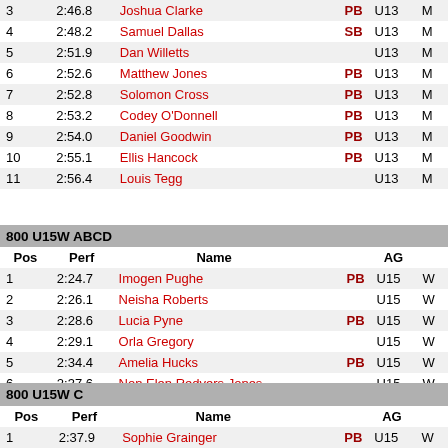| Pos | Perf | Name |  | AG |  |
| --- | --- | --- | --- | --- | --- |
| 3 | 2:46.8 | Joshua Clarke | PB | U13 | M |
| 4 | 2:48.2 | Samuel Dallas | SB | U13 | M |
| 5 | 2:51.9 | Dan Willetts |  | U13 | M |
| 6 | 2:52.6 | Matthew Jones | PB | U13 | M |
| 7 | 2:52.8 | Solomon Cross | PB | U13 | M |
| 8 | 2:53.2 | Codey O'Donnell | PB | U13 | M |
| 9 | 2:54.0 | Daniel Goodwin | PB | U13 | M |
| 10 | 2:55.1 | Ellis Hancock | PB | U13 | M |
| 11 | 2:56.4 | Louis Tegg |  | U13 | M |
800 U15W ABCD
| Pos | Perf | Name |  | AG |  |
| --- | --- | --- | --- | --- | --- |
| 1 | 2:24.7 | Imogen Pughe | PB | U15 | W |
| 2 | 2:26.1 | Neisha Roberts |  | U15 | W |
| 3 | 2:28.6 | Lucia Pyne | PB | U15 | W |
| 4 | 2:29.1 | Orla Gregory |  | U15 | W |
| 5 | 2:34.4 | Amelia Hucks | PB | U15 | W |
| 6 | 2:37.6 | Non Elen Redvers Jones |  | U15 | W |
| 7 | 2:39.6 | Maisie Bell | PB | U15 | W |
| 8 | 2:43.7 | Eve Ratcliffe |  | U15 | W |
| 9 | 2:45.6 | Hollie Brussels | PB | U15 | W |
| 10 | 2:45.6 | Carys Breeze |  | U15 | W |
800 U15W C
| Pos | Perf | Name |  | AG |  |
| --- | --- | --- | --- | --- | --- |
| 1 | 2:37.9 | Sophie Grainger | PB | U15 | W |